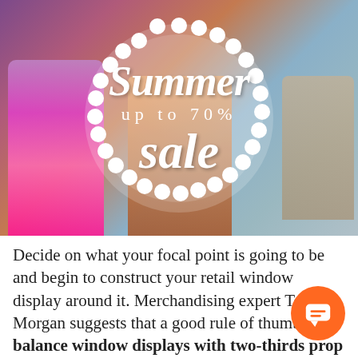[Figure (photo): Photo of a retail store window display with colorful swimwear/bikinis on mannequins. Overlaid with a white scalloped circle badge containing the text 'Summer up to 70% sale' in white script and serif fonts.]
Decide on what your focal point is going to be and begin to construct your retail window display around it. Merchandising expert Tony Morgan suggests that a good rule of thumb to balance window displays with two-thirds prop to one-third merchandise [1].